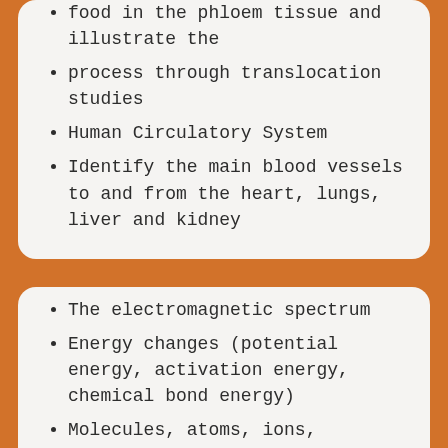food in the phloem tissue and illustrate the
process through translocation studies
Human Circulatory System
Identify the main blood vessels to and from the heart, lungs, liver and kidney
The electromagnetic spectrum
Energy changes (potential energy, activation energy, chemical bond energy)
Molecules, atoms, ions, electrons